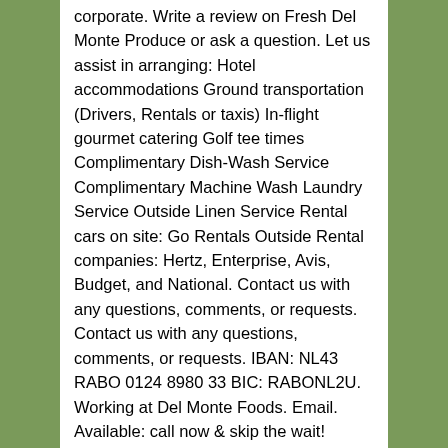corporate. Write a review on Fresh Del Monte Produce or ask a question. Let us assist in arranging: Hotel accommodations Ground transportation (Drivers, Rentals or taxis) In-flight gourmet catering Golf tee times Complimentary Dish-Wash Service Complimentary Machine Wash Laundry Service Outside Linen Service Rental cars on site: Go Rentals Outside Rental companies: Hertz, Enterprise, Avis, Budget, and National. Contact us with any questions, comments, or requests. Contact us with any questions, comments, or requests. IBAN: NL43 RABO 0124 8980 33 BIC: RABONL2U. Working at Del Monte Foods. Email. Available: call now & skip the wait! Support for the deaf, hearing impaired or speech impaired. Del Monte Mango slices on light syrup . Grid List. Contact Fresh Del Monte Produce customer service. Im Unternehmen sind rund 8.100 Mitarbeiter beschäftigt. 15 Customer Service jobs available in Del Monte, ID on Indeed.com. Nähmaschinen Service Center - Del Monte GmbH Willkommen bei Wir machen Ihre Maschine wieder fit Marken unabhängiges Sortiment Hochwertige Produkte Alle Geschmäcker finden ihr Glück Massgeschneiderte Nähkurse Betriebsferien vom